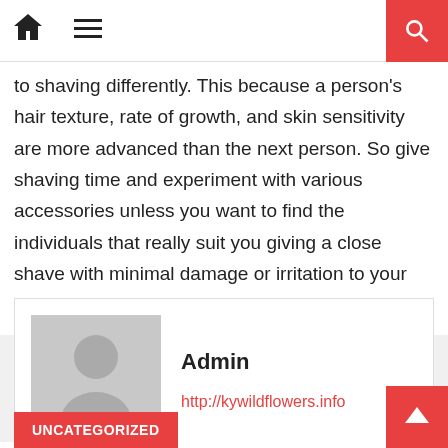Navigation bar with home icon, hamburger menu, and search button
to shaving differently. This because a person's hair texture, rate of growth, and skin sensitivity are more advanced than the next person. So give shaving time and experiment with various accessories unless you want to find the individuals that really suit you giving a close shave with minimal damage or irritation to your skin.
Admin
http://kywildflowers.info
RELATED ARTICLES
UNCATEGORIZED